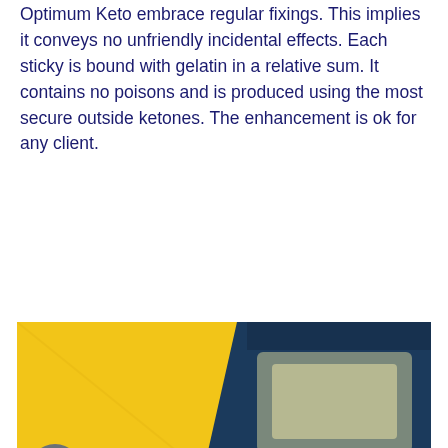Optimum Keto embrace regular fixings. This implies it conveys no unfriendly incidental effects. Each sticky is bound with gelatin in a relative sum. It contains no poisons and is produced using the most secure outside ketones. The enhancement is ok for any client.
[Figure (photo): Blurred product image showing a yellow and dark blue background with a product box or label on the right side.]
>>>Click to Buy — Purchase Only From Official Website
Last decision
In the event that you are getting thinner quick by following a ketogenic diet, you